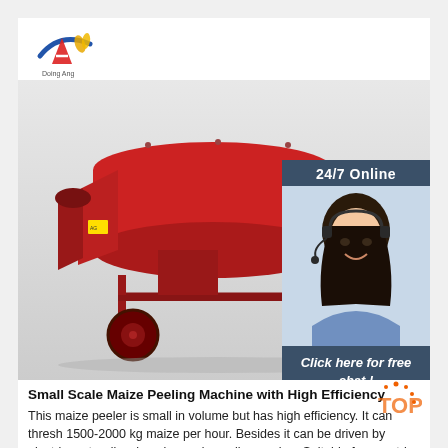[Figure (logo): Company logo with red/blue swoosh and 'A' letter with wheat/grain graphic and company name below]
[Figure (photo): Red large-scale maize peeling/threshing machine on wheels, photographed against white/grey background]
[Figure (infographic): 24/7 Online customer service overlay with dark blue background, woman wearing headset, 'Click here for free chat!' text, and orange QUOTATION button]
Small Scale Maize Peeling Machine with High Efficiency
This maize peeler is small in volume but has high efficiency. It can thresh 1500-2000 kg maize per hour. Besides it can be driven by electric motor diesel engine and gasoline engine. Suitable for countries and regions lack of electric